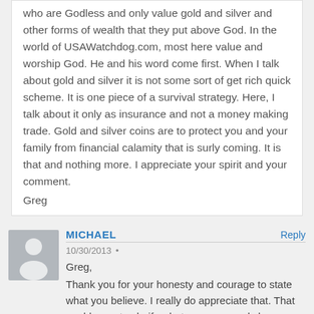who are Godless and only value gold and silver and other forms of wealth that they put above God. In the world of USAWatchdog.com, most here value and worship God. He and his word come first. When I talk about gold and silver it is not some sort of get rich quick scheme. It is one piece of a survival strategy. Here, I talk about it only as insurance and not a money making trade. Gold and silver coins are to protect you and your family from financial calamity that is surly coming. It is that and nothing more. I appreciate your spirit and your comment.
Greg
MICHAEL
Reply
10/30/2013
Greg,
Thank you for your honesty and courage to state what you believe. I really do appreciate that. That enables us to clarify what we mean and clear up any